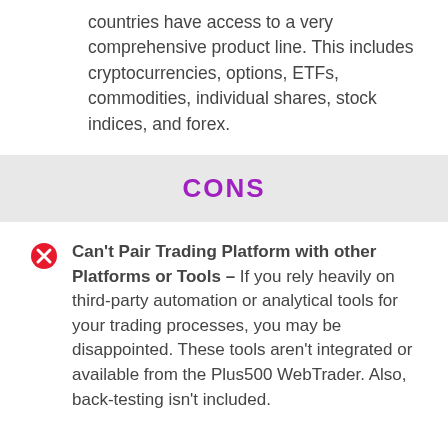countries have access to a very comprehensive product line. This includes cryptocurrencies, options, ETFs, commodities, individual shares, stock indices, and forex.
CONS
Can't Pair Trading Platform with other Platforms or Tools – If you rely heavily on third-party automation or analytical tools for your trading processes, you may be disappointed. These tools aren't integrated or available from the Plus500 WebTrader. Also, back-testing isn't included.